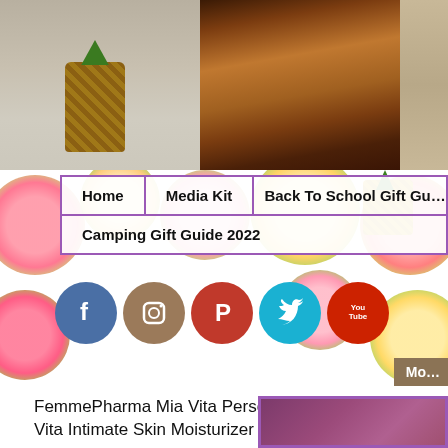[Figure (screenshot): Website screenshot showing a lifestyle blog header with photo strip (pineapple on sand, wooden texture, beach), colorful fruit-patterned background, navigation menu with purple border, social media icons (Facebook, Instagram, Pinterest, Twitter, YouTube), and an article title about FemmePharma Mia Vita products]
Home
Media Kit
Back To School Gift Gu...
Camping Gift Guide 2022
FemmePharma Mia Vita Personal Lubricant & Mia Vita Intimate Skin Moisturizer Holiday Gift Guid...